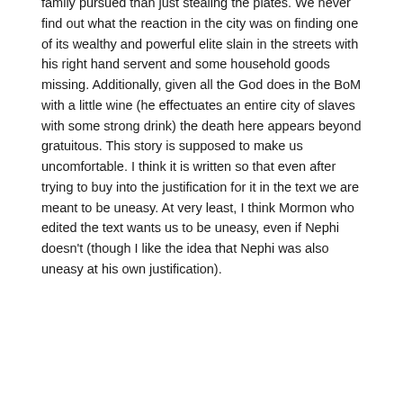family pursued than just stealing the plates. We never find out what the reaction in the city was on finding one of its wealthy and powerful elite slain in the streets with his right hand servent and some household goods missing. Additionally, given all the God does in the BoM with a little wine (he effectuates an entire city of slaves with some strong drink) the death here appears beyond gratuitous. This story is supposed to make us uncomfortable. I think it is written so that even after trying to buy into the justification for it in the text we are meant to be uneasy. At very least, I think Mormon who edited the text wants us to be uneasy, even if Nephi doesn't (though I like the idea that Nephi was also uneasy at his own justification).